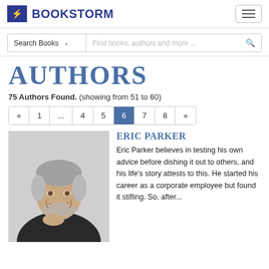BOOKSTORM
Search Books | Find books, authors and more ...
AUTHORS
75 Authors Found. (showing from 51 to 60)
Pagination: « 1 ... 4 5 6 7 8 »
[Figure (photo): Headshot of Eric Parker, a middle-aged man with gray hair and beard, smiling, wearing a dark blazer]
ERIC PARKER
Eric Parker believes in testing his own advice before dishing it out to others, and his life's story attests to this. He started his career as a corporate employee but found it stifling. So, after...